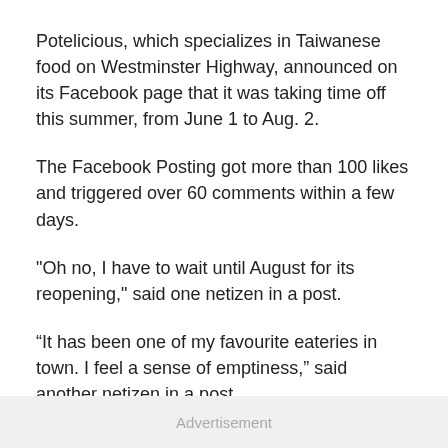Potelicious, which specializes in Taiwanese food on Westminster Highway, announced on its Facebook page that it was taking time off this summer, from June 1 to Aug. 2.
The Facebook Posting got more than 100 likes and triggered over 60 comments within a few days.
"Oh no, I have to wait until August for its reopening," said one netizen in a post.
“It has been one of my favourite eateries in town. I feel a sense of emptiness,” said another netizen in a post.
Meanwhile, some people said the two-month vacation is what they need.
Advertisement